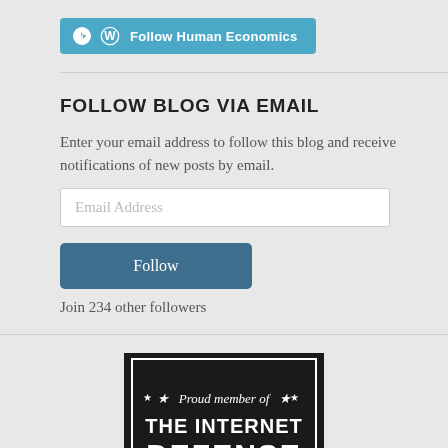[Figure (logo): WordPress Follow Human Economics button with WordPress logo icon on teal/cyan background]
FOLLOW BLOG VIA EMAIL
Enter your email address to follow this blog and receive notifications of new posts by email.
Email Address
[Figure (other): Follow button (dark blue/teal rounded rectangle)]
Join 234 other followers
[Figure (logo): Shield badge: 'Proud member of THE INTERNET DEFENSE' black badge with white text and stars]